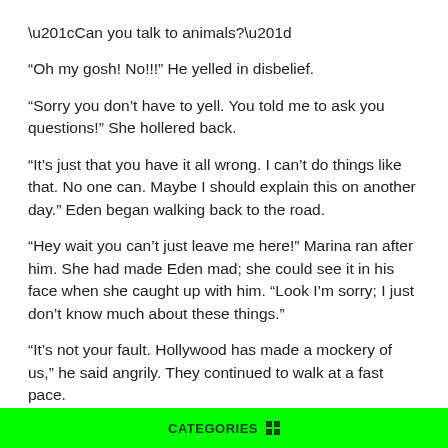“Can you talk to animals?”
“Oh my gosh! No!!!” He yelled in disbelief.
“Sorry you don’t have to yell. You told me to ask you questions!” She hollered back.
“It’s just that you have it all wrong. I can’t do things like that. No one can. Maybe I should explain this on another day.” Eden began walking back to the road.
“Hey wait you can’t just leave me here!” Marina ran after him. She had made Eden mad; she could see it in his face when she caught up with him. “Look I’m sorry; I just don’t know much about these things.”
“It’s not your fault. Hollywood has made a mockery of us,” he said angrily. They continued to walk at a fast pace.
CATEGORIES